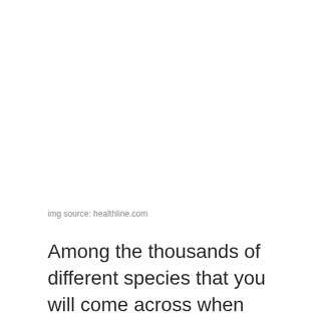img source: healthline.com
Among the thousands of different species that you will come across when figuring out what you want to plant in your garden, you will surely come across more than a few different species that seem to be almost